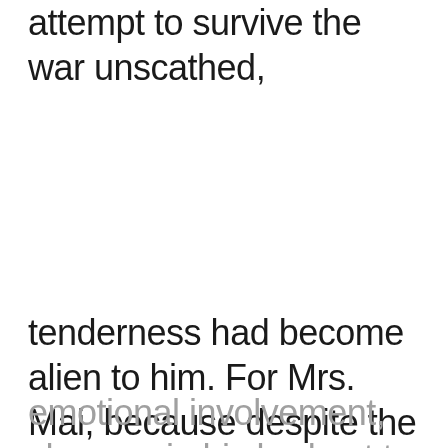attempt to survive the war unscathed,
tenderness had become alien to him. For Mrs. Mai, because despite the unintended
emotional involvement, she was in his bed not to be his true lover but to trap him to his death